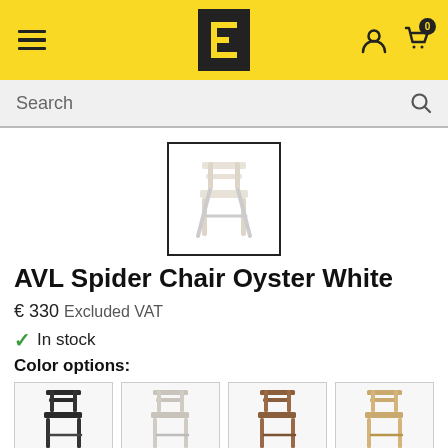Navigation header with hamburger menu, logo, user icon, and cart (0)
Search
[Figure (photo): Product photo of AVL Spider Chair Oyster White, front view, white/cream colored wooden chair with distinctive cross-brace structure]
AVL Spider Chair Oyster White
€ 330 Excluded VAT
✓ In stock
Color options:
[Figure (photo): Four color option thumbnails of the AVL Spider Chair: dark/black, white/grey, brown/walnut, and light wood/oak]